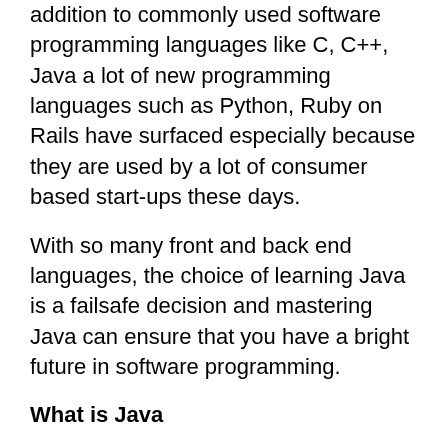addition to commonly used software programming languages like C, C++, Java a lot of new programming languages such as Python, Ruby on Rails have surfaced especially because they are used by a lot of consumer based start-ups these days.
With so many front and back end languages, the choice of learning Java is a failsafe decision and mastering Java can ensure that you have a bright future in software programming.
What is Java
Java is a computer programming language that is designed to be platform independent meaning that the language can virtually run on any hardware platform. This platform independence and an object-oriented